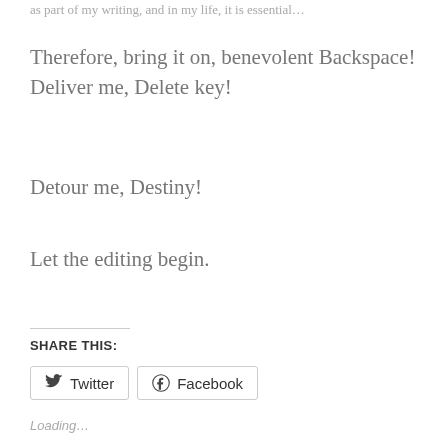…as part of my writing, and in my life, it is essential…
Therefore, bring it on, benevolent Backspace! Deliver me, Delete key!
Detour me, Destiny!
Let the editing begin.
SHARE THIS:
Twitter  Facebook
Loading…